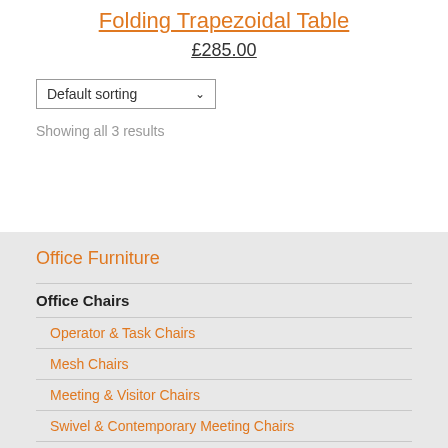Folding Trapezoidal Table
£285.00
Default sorting
Showing all 3 results
Office Furniture
Office Chairs
Operator & Task Chairs
Mesh Chairs
Meeting & Visitor Chairs
Swivel & Contemporary Meeting Chairs